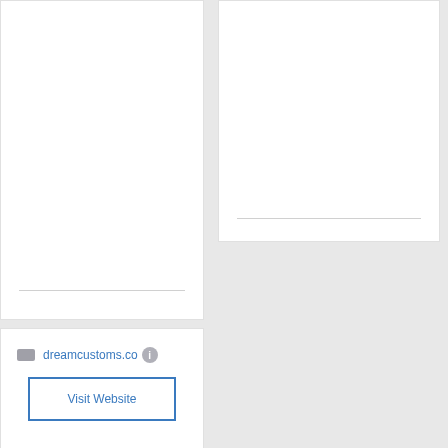[Figure (other): Large white card panel on the left side of the page, mostly blank with a horizontal divider line near the bottom]
[Figure (other): Large white card panel on the right side of the page, mostly blank with a horizontal divider line near the bottom]
dreamcustoms.co
Visit Website